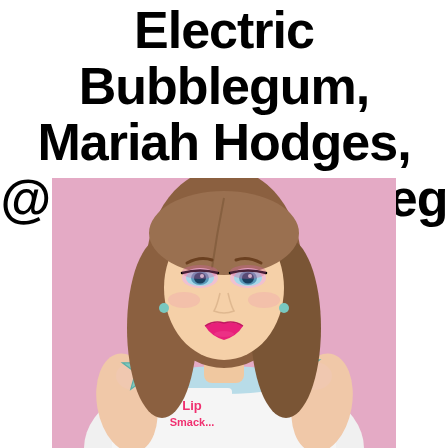Electric Bubblegum, Mariah Hodges, @electric_bubbleg
[Figure (photo): Young woman with long brown hair, blue-green eyes, bright pink lipstick and eye makeup, wearing large teal glitter star-shaped earrings and a white top with pink 'Lip Smacker' text, posed against a pink/lavender background, holding the earrings up near her shoulders.]